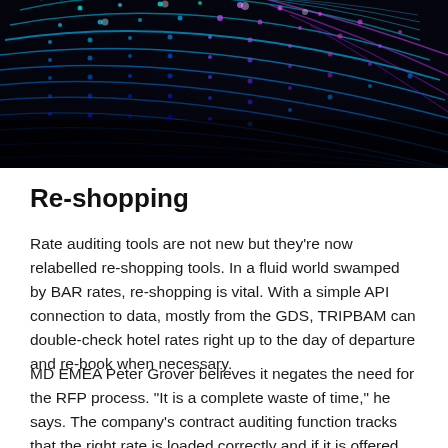[Figure (photo): Close-up photo of a fingerprint rendered in glowing blue and pink/purple digital light patterns on a dark black background, giving a futuristic digital identity appearance.]
Re-shopping
Rate auditing tools are not new but they’re now relabelled re-shopping tools. In a fluid world swamped by BAR rates, re-shopping is vital. With a simple API connection to data, mostly from the GDS, TRIPBAM can double-check hotel rates right up to the day of departure and re-book when necessary.
MD EMEA Peter Grover believes it negates the need for the RFP process. “It is a complete waste of time,” he says. The company’s contract auditing function tracks that the right rate is loaded correctly and if it is offered every single time. In the